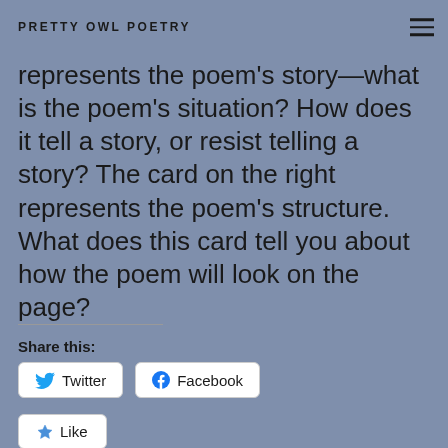PRETTY OWL POETRY
different uses of rhyme, rhythm, and sound. The card on the left represents the poem's story—what is the poem's situation? How does it tell a story, or resist telling a story? The card on the right represents the poem's structure. What does this card tell you about how the poem will look on the page?
Share this:
Twitter
Facebook
Like
Be the first to like this.